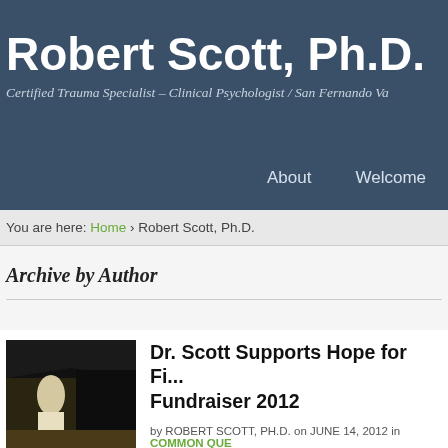Robert Scott, Ph.D.
Certified Trauma Specialist – Clinical Psychologist / San Fernando Va
About   Welcome
You are here: Home › Robert Scott, Ph.D.
Archive by Author
[Figure (photo): Outdoor event photo showing a person in costume at a booth or tent, dark background]
Dr. Scott Supports Hope for Fi... Fundraiser 2012
by ROBERT SCOTT, PH.D. on JUNE 14, 2012 in COMMON QUE...